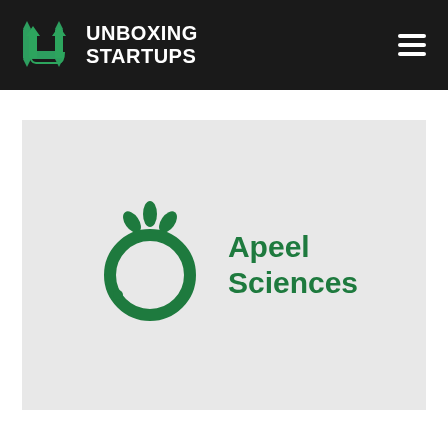[Figure (logo): Unboxing Startups website header with green hexagon logo icon and white bold text 'UNBOXING STARTUPS' on dark/black background, with hamburger menu icon on the right]
[Figure (logo): Apeel Sciences logo on light gray background: green circular fruit icon with leaves and green bold text 'Apeel Sciences']